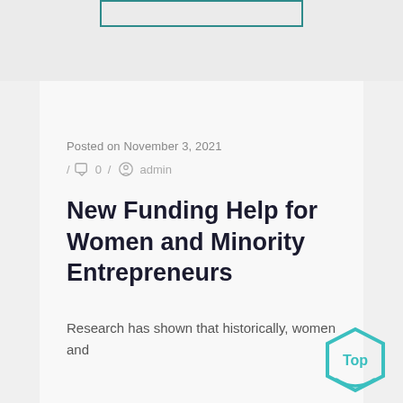[Figure (other): Teal/dark teal outlined rectangle at top center, partially visible]
Posted on November 3, 2021
/ 🗨 0 / ⊙ admin
New Funding Help for Women and Minority Entrepreneurs
Research has shown that historically, women and
[Figure (logo): Teal hexagon badge with 'Top' text inside]